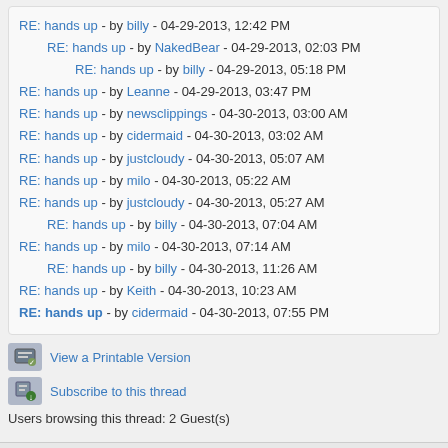RE: hands up - by billy - 04-29-2013, 12:42 PM
RE: hands up - by NakedBear - 04-29-2013, 02:03 PM
RE: hands up - by billy - 04-29-2013, 05:18 PM
RE: hands up - by Leanne - 04-29-2013, 03:47 PM
RE: hands up - by newsclippings - 04-30-2013, 03:00 AM
RE: hands up - by cidermaid - 04-30-2013, 03:02 AM
RE: hands up - by justcloudy - 04-30-2013, 05:07 AM
RE: hands up - by milo - 04-30-2013, 05:22 AM
RE: hands up - by justcloudy - 04-30-2013, 05:27 AM
RE: hands up - by billy - 04-30-2013, 07:04 AM
RE: hands up - by milo - 04-30-2013, 07:14 AM
RE: hands up - by billy - 04-30-2013, 11:26 AM
RE: hands up - by Keith - 04-30-2013, 10:23 AM
RE: hands up - by cidermaid - 04-30-2013, 07:55 PM
View a Printable Version
Subscribe to this thread
Users browsing this thread: 2 Guest(s)
Contact Us   Poetry Forum   Return to Top   Lite (Archive) Mode
Powered By MyBB, © 2002-2022 MyBB Group.